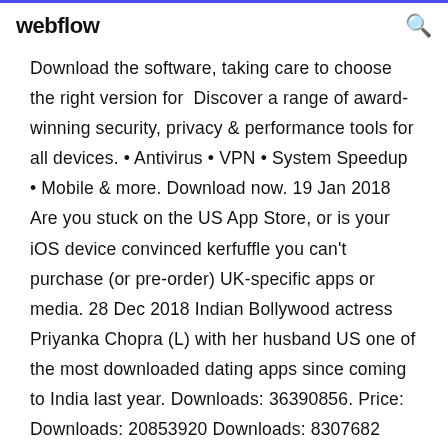webflow
Download the software, taking care to choose the right version for  Discover a range of award-winning security, privacy & performance tools for all devices. • Antivirus • VPN • System Speedup • Mobile & more. Download now. 19 Jan 2018 Are you stuck on the US App Store, or is your iOS device convinced kerfuffle you can't purchase (or pre-order) UK-specific apps or media. 28 Dec 2018 Indian Bollywood actress Priyanka Chopra (L) with her husband US one of the most downloaded dating apps since coming to India last year. Downloads: 36390856. Price: Downloads: 20853920 Downloads: 8307682 Downloads: 2922773 English to Indian Language Translator Contact